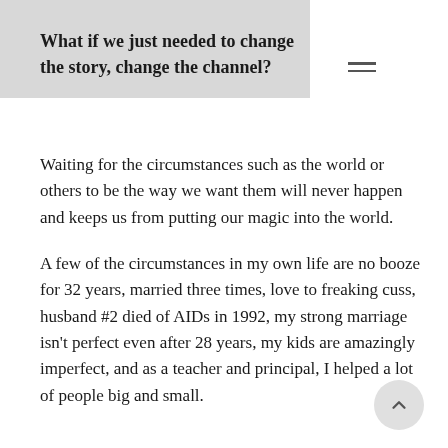What if we just needed to change the story, change the channel?
Waiting for the circumstances such as the world or others to be the way we want them will never happen and keeps us from putting our magic into the world.
A few of the circumstances in my own life are no booze for 32 years, married three times, love to freaking cuss, husband #2 died of AIDs in 1992, my strong marriage isn't perfect even after 28 years, my kids are amazingly imperfect, and as a teacher and principal, I helped a lot of people big and small.